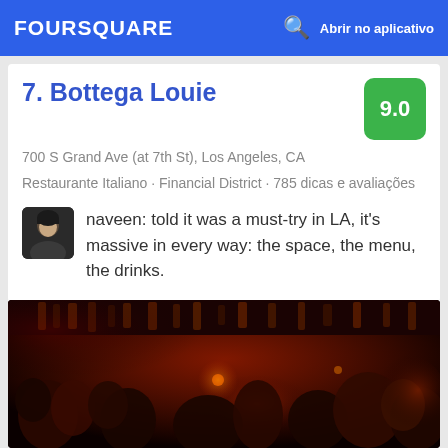FOURSQUARE  Abrir no aplicativo
7. Bottega Louie  9.0
700 S Grand Ave (at 7th St), Los Angeles, CA
Restaurante Italiano · Financial District · 785 dicas e avaliações
naveen: told it was a must-try in LA, it's massive in every way: the space, the menu, the drinks.
[Figure (photo): Interior of Bottega Louie bar/restaurant, crowded with people under red ambient lighting, bottles visible on shelves in background.]